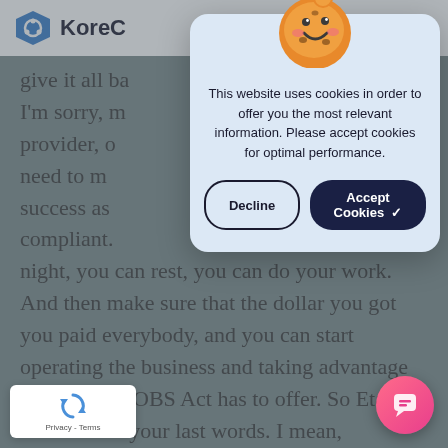[Figure (screenshot): Website screenshot showing KoreConX page with cookie consent modal overlay. Background shows partial text of a transcript, a reCAPTCHA badge at bottom left, and a chat button at bottom right. The modal has a cookie emoji illustration, cookie consent text, and two buttons: Decline and Accept Cookies.]
KoreC
give it all ba
I'm sorry, m
provider, o
need to m
success as
compliant.
night, you can rest, you can do your work. And then make sure that the dollar you got you paid everybody, and you can start operating the business and taking advantage of what the JOBS Act has to offer. So Etan I love to hear your last words. I mean, obviously you and f course you to Douglas as well. But you a
ve been dealing with these. It's so imper
ought it was so timely that we're having this
[Figure (illustration): Cookie emoji: orange round face with smile, eyes, and rosy cheeks]
This website uses cookies in order to offer you the most relevant information. Please accept cookies for optimal performance.
Decline
Accept Cookies ✓
[Figure (logo): Google reCAPTCHA badge with spinning arrows logo and Privacy - Terms text]
[Figure (illustration): Pink/red circular chat button with chat bubble icon]